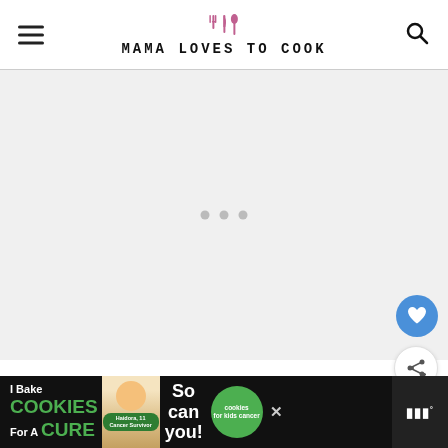MAMA LOVES TO COOK
[Figure (screenshot): Main content area of blog, light grey, loading with three dots indicator]
[Figure (illustration): Blue circular button with heart icon (save/favorite)]
[Figure (illustration): White circular share button with share icon]
[Figure (screenshot): What's Next panel showing thumbnail and text: Easy Halloween...]
[Figure (screenshot): Advertisement banner: I Bake COOKIES For A CURE - So can you! cookies for kids cancer]